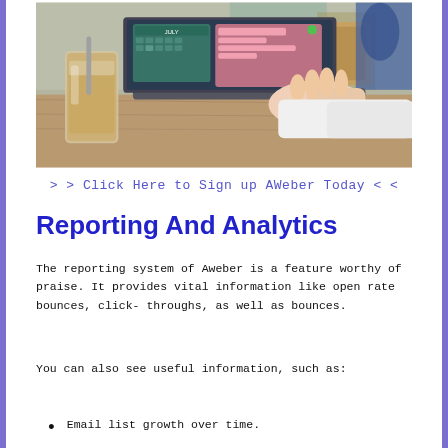[Figure (photo): Person typing on a laptop at a cafe table with an iced coffee drink beside the laptop. The laptop screen shows a calendar and a chat interface.]
> > Click Here to Sign up AWeber Today < <
Reporting And Analytics
The reporting system of Aweber is a feature worthy of praise. It provides vital information like open rate bounces, click-throughs, as well as bounces.
You can also see useful information, such as:
Email list growth over time.